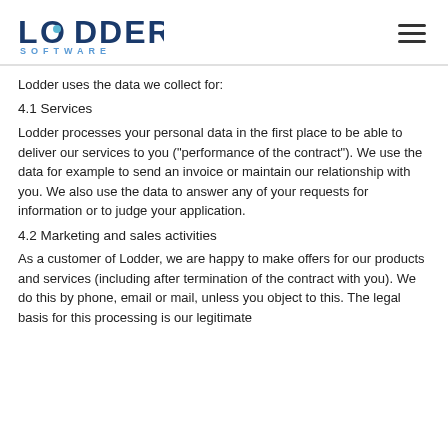LODDER SOFTWARE
Lodder uses the data we collect for:
4.1 Services
Lodder processes your personal data in the first place to be able to deliver our services to you ("performance of the contract"). We use the data for example to send an invoice or maintain our relationship with you. We also use the data to answer any of your requests for information or to judge your application.
4.2 Marketing and sales activities
As a customer of Lodder, we are happy to make offers for our products and services (including after termination of the contract with you). We do this by phone, email or mail, unless you object to this. The legal basis for this processing is our legitimate